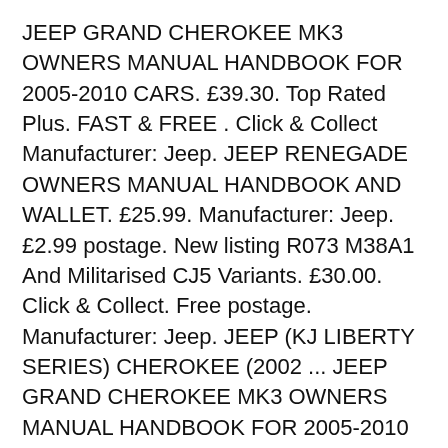JEEP GRAND CHEROKEE MK3 OWNERS MANUAL HANDBOOK FOR 2005-2010 CARS. £39.30. Top Rated Plus. FAST & FREE . Click & Collect Manufacturer: Jeep. JEEP RENEGADE OWNERS MANUAL HANDBOOK AND WALLET. £25.99. Manufacturer: Jeep. £2.99 postage. New listing R073 M38A1 And Militarised CJ5 Variants. £30.00. Click & Collect. Free postage. Manufacturer: Jeep. JEEP (KJ LIBERTY SERIES) CHEROKEE (2002 ... JEEP GRAND CHEROKEE MK3 OWNERS MANUAL HANDBOOK FOR 2005-2010 CARS. £39.30. Top Rated Plus. FAST & FREE . Click & Collect Manufacturer: Jeep. JEEP RENEGADE OWNERS MANUAL HANDBOOK AND WALLET. £25.99.